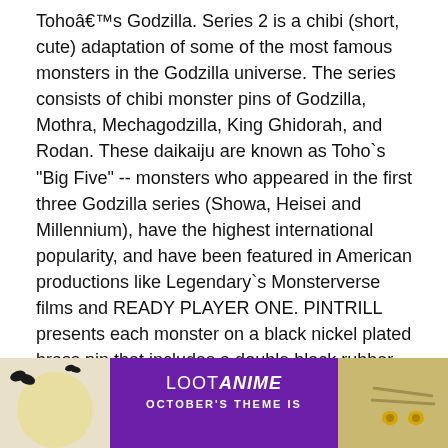Toho's Godzilla. Series 2 is a chibi (short, cute) adaptation of some of the most famous monsters in the Godzilla universe. The series consists of chibi monster pins of Godzilla, Mothra, Mechagodzilla, King Ghidorah, and Rodan. These daikaiju are known as Toho`s "Big Five" -- monsters who appeared in the first three Godzilla series (Showa, Heisei and Millennium), have the highest international popularity, and have been featured in American productions like Legendary`s Monsterverse films and READY PLAYER ONE. PINTRILL presents each monster on a black nickel plated brass pin that includes a double black rubber pin clutch. Each pin measures approximately 0.5" x 0.5" x 2mm and retails for $12.00. The pins are now live exclusively via pintrill.com.
Read more ...
[Figure (illustration): Loot Anime banner advertisement with purple background, Halloween bats on left side with yellow moon, mummy character on right side. Text reads LOOTANIME OCTOBER'S THEME IS]